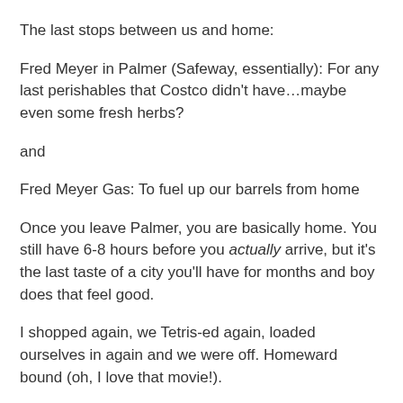The last stops between us and home:
Fred Meyer in Palmer (Safeway, essentially): For any last perishables that Costco didn't have…maybe even some fresh herbs?
and
Fred Meyer Gas: To fuel up our barrels from home
Once you leave Palmer, you are basically home. You still have 6-8 hours before you actually arrive, but it's the last taste of a city you'll have for months and boy does that feel good.
I shopped again, we Tetris-ed again, loaded ourselves in again and we were off. Homeward bound (oh, I love that movie!).
Despite Doctors orders, The Chief drove the entire way home. Once you're on a roll on the road it's hard to stop. Our Third Amigo plagued with the Anchorage Ick too (and worse than me) got sick and sicker